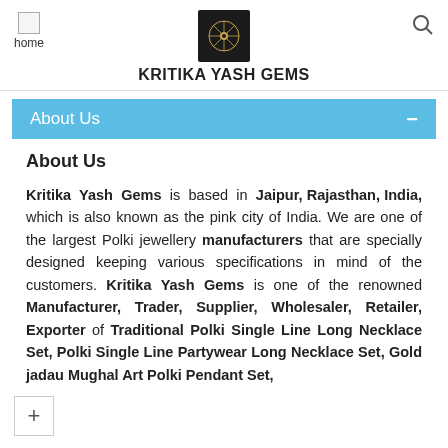KRITIKA YASH GEMS
About Us
About Us
Kritika Yash Gems is based in Jaipur, Rajasthan, India, which is also known as the pink city of India. We are one of the largest Polki jewellery manufacturers that are specially designed keeping various specifications in mind of the customers. Kritika Yash Gems is one of the renowned Manufacturer, Trader, Supplier, Wholesaler, Retailer, Exporter of Traditional Polki Single Line Long Necklace Set, Polki Single Line Partywear Long Necklace Set, Gold jadau Mughal Art Polki Pendant Set,